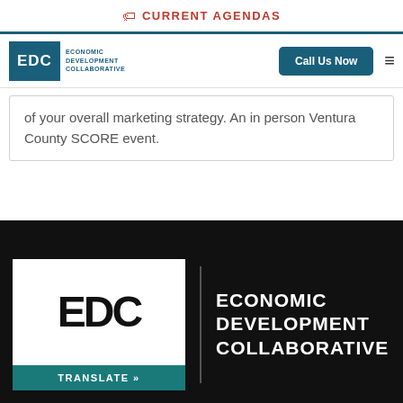CURRENT AGENDAS
[Figure (logo): EDC - Economic Development Collaborative logo with teal background and white text, plus Call Us Now button and hamburger menu]
of your overall marketing strategy. An in person Ventura County SCORE event.
[Figure (logo): Large EDC Economic Development Collaborative footer logo on dark background with TRANSLATE button]
S